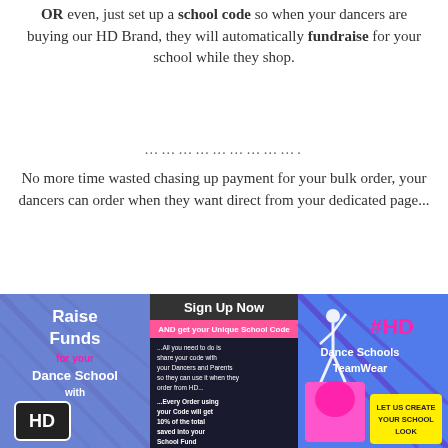OR even, just set up a school code so when your dancers are buying our HD Brand, they will automatically fundraise for your school while they shop.
…………………….
No more time wasted chasing up payment for your bulk order, your dancers can order when they want direct from your dedicated page...
Easy as 123, leaves you time to dance as we take all your stress and worries away :D
[Figure (infographic): Three-panel promotional infographic for HD Dance Schools TeamWear. Left panel: magenta/teal plaid background with white bold text 'Raise Funds for your Dance School with HD'. Middle panel: dark background with 'Sign Up Now' header, pink banner 'AND get your Unique School Code', instructions about sharing code with dancers and parents, and text about every order using code getting 10% of total saved into your School Fund. Right panel: plaid background with '#HD Dance Schools TeamWear' text, dancer silhouette, and 'LET US CREATE YOUR SCHOOL LOOK' tagline.]